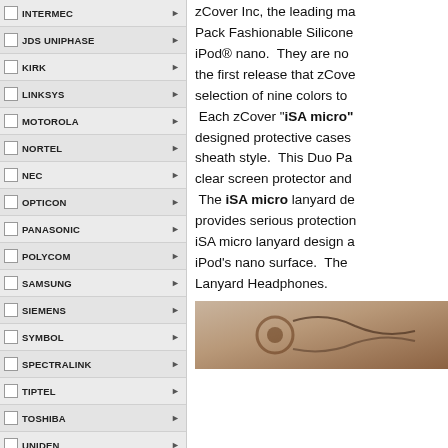INTERMEC
JDS UNIPHASE
KIRK
LINKSYS
MOTOROLA
NORTEL
NEC
OPTICON
PANASONIC
POLYCOM
SAMSUNG
SIEMENS
SYMBOL
SPECTRALINK
TIPTEL
TOSHIBA
UNIDEN
VERIFONE
VOCERA
zAD
MORE
zCover Inc, the leading ma Pack Fashionable Silicone iPod® nano.  They are no the first release that zCove selection of nine colors to  Each zCover "iSA micro" designed protective cases sheath style.  This Duo Pa clear screen protector and  The iSA micro lanyard de provides serious protection iSA micro lanyard design a iPod's nano surface.  The Lanyard Headphones.
[Figure (photo): Partial photo of earphone/lanyard product on tan/brown background]